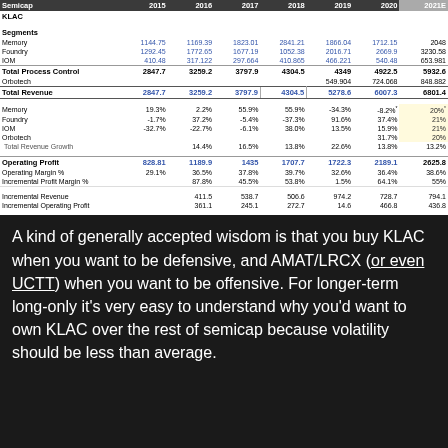| Semicap | 2015 | 2016 | 2017 | 2018 | 2019 | 2020 | 2021E |
| --- | --- | --- | --- | --- | --- | --- | --- |
| KLAC |  |  |  |  |  |  |  |
| Segments |  |  |  |  |  |  |  |
| Memory | 1144.75 | 1169.39 | 1823.01 | 2841.21 | 1866.04 | 1712.15 | 2048 |
| Foundry | 1292.45 | 1772.65 | 1677.19 | 1052.38 | 2016.71 | 2669.9 | 3230.58 |
| IOM | 410.48 | 317.122 | 297.664 | 410.865 | 466.221 | 540.48 | 653.981 |
| Total Process Control | 2847.7 | 3259.2 | 3797.9 | 4304.5 | 4349 | 4922.5 | 5932.6 |
| Orbotech |  |  |  |  | 549.904 | 724.068 | 848.882 |
| Total Revenue | 2847.7 | 3259.2 | 3797.9 | 4304.5 | 5278.6 | 6007.3 | 6801.4 |
| Memory | 19.3% | 2.2% | 55.9% | 55.9% | -34.3% | -8.2% | 20% |
| Foundry | -1.7% | 37.2% | -5.4% | -37.3% | 91.6% | 37.4% | 21% |
| IOM | -32.7% | -22.7% | -6.1% | 38.0% | 13.5% | 15.9% | 21% |
| Orbotech |  |  |  |  |  | 31.7% | 20% |
| Total Revenue Growth |  | 14.4% | 16.5% | 13.8% | 22.6% | 13.8% | 13.2% |
| Operating Profit | 828.81 | 1189.9 | 1435 | 1707.7 | 1722.3 | 2189.1 | 2625.8 |
| Operating Margin % | 29.1% | 36.5% | 37.8% | 39.7% | 32.6% | 36.4% | 38.6% |
| Incremental Profit Margin % |  | 87.8% | 45.5% | 53.8% | 1.5% | 64.1% | 55% |
| Incremental Revenue |  | 411.5 | 538.7 | 506.6 | 974.2 | 728.7 | 794.1 |
| Incremental Operating Profit |  | 361.1 | 245.1 | 272.7 | 14.6 | 466.8 | 436.8 |
A kind of generally accepted wisdom is that you buy KLAC when you want to be defensive, and AMAT/LRCX (or even UCTT) when you want to be offensive. For longer-term long-only it's very easy to understand why you'd want to own KLAC over the rest of semicap because volatility should be less than average.